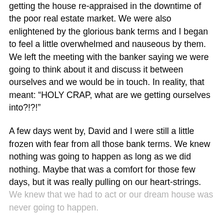getting the house re-appraised in the downtime of the poor real estate market. We were also enlightened by the glorious bank terms and I began to feel a little overwhelmed and nauseous by them. We left the meeting with the banker saying we were going to think about it and discuss it between ourselves and we would be in touch. In reality, that meant: “HOLY CRAP, what are we getting ourselves into?!?!”
A few days went by, David and I were still a little frozen with fear from all those bank terms. We knew nothing was going to happen as long as we did nothing. Maybe that was a comfort for those few days, but it was really pulling on our heart-strings.
We knew that we had to act or our dream house was never going to happen.